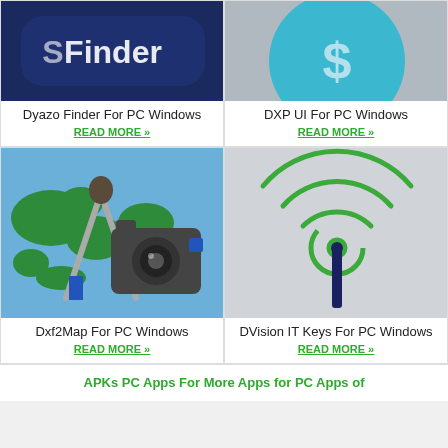[Figure (screenshot): App icon for Dyazo Finder – dark blue rounded rectangle with white text 'Finder' partially visible]
Dyazo Finder For PC Windows
READ MORE »
[Figure (screenshot): App icon for DXP UI – light blue circle with dollar sign on gray background]
DXP UI For PC Windows
READ MORE »
[Figure (screenshot): App icon for Dxf2Map – blue background with green world map, compass/drafting tool, and camera]
Dxf2Map For PC Windows
READ MORE »
[Figure (screenshot): App icon for DVision IT Keys – white/gray background with green WiFi/radio antenna icon and dark blue antenna post]
DVision IT Keys For PC Windows
READ MORE »
APKs PC Apps For More Apps for PC Apps of